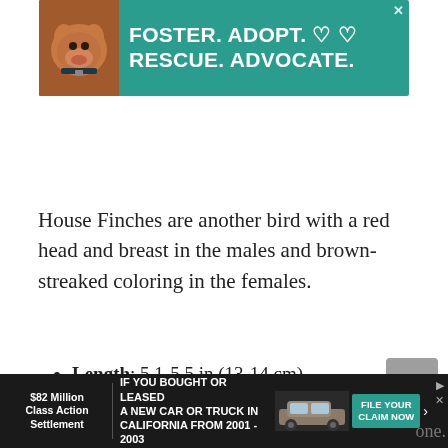[Figure (other): Advertisement banner: green background with dog image on left, white bold text reading 'FOSTER. ADOPT. RESCUE. ADVOCATE.' with heart icons]
House Finches are another bird with a red head and breast in the males and brown-streaked coloring in the females.
Length: 5.1-5.5 in (13-14 cm)
Weight: 0.6-0.9 oz (16-27 g)
Wingspan: 7.9-9.8 in (20-25 cm)
[Figure (other): Advertisement banner: dark background, '$82 Million Class Action Settlement', 'IF YOU BOUGHT OR LEASED A NEW CAR OR TRUCK IN CALIFORNIA FROM 2001-2003', with FILE YOUR CLAIM NOW button]